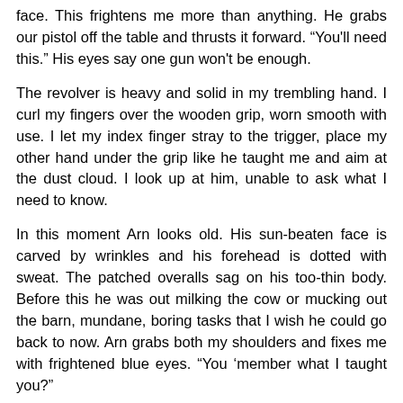face. This frightens me more than anything. He grabs our pistol off the table and thrusts it forward. “You'll need this.” His eyes say one gun won't be enough.
The revolver is heavy and solid in my trembling hand. I curl my fingers over the wooden grip, worn smooth with use. I let my index finger stray to the trigger, place my other hand under the grip like he taught me and aim at the dust cloud. I look up at him, unable to ask what I need to know.
In this moment Arn looks old. His sun-beaten face is carved by wrinkles and his forehead is dotted with sweat. The patched overalls sag on his too-thin body. Before this he was out milking the cow or mucking out the barn, mundane, boring tasks that I wish he could go back to now. Arn grabs both my shoulders and fixes me with frightened blue eyes. “You ‘member what I taught you?”
“Is it the Breeders? It is, isn’t it?” My voice breaks with the terror that’s sticking to my insides and knotting my stomach. Arn says nothing. He doesn’t have to. His face tells me everything I need to know.